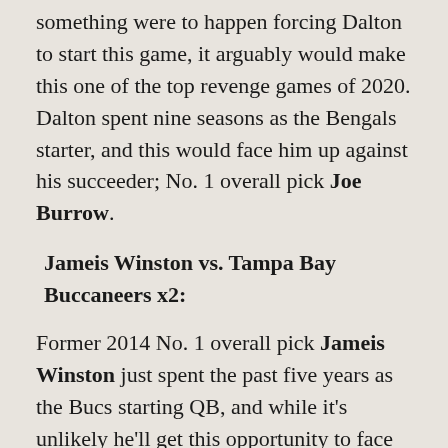something were to happen forcing Dalton to start this game, it arguably would make this one of the top revenge games of 2020. Dalton spent nine seasons as the Bengals starter, and this would face him up against his succeeder; No. 1 overall pick Joe Burrow.
Jameis Winston vs. Tampa Bay Buccaneers x2:
Former 2014 No. 1 overall pick Jameis Winston just spent the past five years as the Bucs starting QB, and while it's unlikely he'll get this opportunity to face his former team, you never know.. Teddy Bridgewater did start five games for them last year due to Brees hand injury, but barring injury we might not get this one unfortunately.